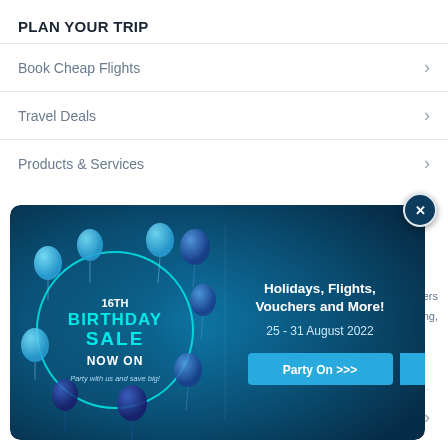PLAN YOUR TRIP
Book Cheap Flights
Travel Deals
Products & Services
[Figure (infographic): 16th Birthday Sale promotional popup banner with balloons on a dark blue background. Text: '16TH BIRTHDAY SALE NOW ON - Party with us and save big!' on the left. Right side: 'Holidays, Flights, Vouchers and More! 25 - 31 August 2022' with a 'Party On >>>' button. Close button (X) in top-right corner.]